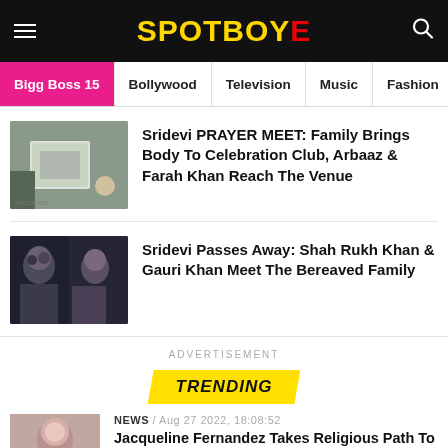SPOTBOYE
Bigg Boss 15
Bollywood
Television
Music
Fashion
[Figure (photo): White van with people outside - related to Sridevi prayer meet]
Sridevi PRAYER MEET: Family Brings Body To Celebration Club, Arbaaz & Farah Khan Reach The Venue
[Figure (photo): Shah Rukh Khan and Gauri Khan seen in dark lighting - related to Sridevi passes away article]
Sridevi Passes Away: Shah Rukh Khan & Gauri Khan Meet The Bereaved Family
ADVERTISEMENT
TRENDING
[Figure (photo): Jacqueline Fernandez thumbnail image]
NEWS / Aug 27 2022, 18:08:52
Jacqueline Fernandez Takes Religious Path To